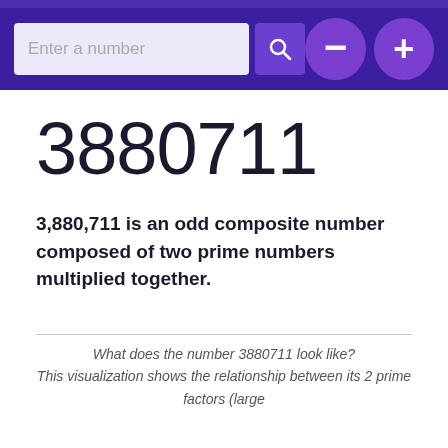Enter a number [search bar with search button, minus button, plus button]
3880711
3,880,711 is an odd composite number composed of two prime numbers multiplied together.
What does the number 3880711 look like?
This visualization shows the relationship between its 2 prime factors (large